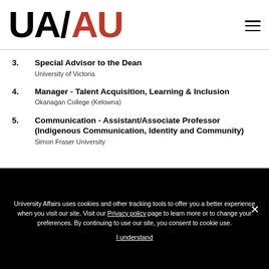UA/AU logo and navigation
3. Special Advisor to the Dean
University of Victoria
4. Manager - Talent Acquisition, Learning & Inclusion
Okanagan College (Kelowna)
5. Communication - Assistant/Associate Professor (Indigenous Communication, Identity and Community)
Simon Fraser University
University Affairs uses cookies and other tracking tools to offer you a better experience when you visit our site. Visit our Privacy policy page to learn more or to change your preferences. By continuing to use our site, you consent to cookie use.
I understand